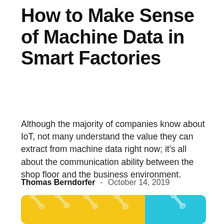How to Make Sense of Machine Data in Smart Factories
Although the majority of companies know about IoT, not many understand the value they can extract from machine data right now; it's all about the communication ability between the shop floor and the business environment.
Thomas Berndorfer  -  October 14, 2019
[Figure (illustration): Decorative banner image with yellow and light-blue background sections, featuring repeated wrench icons in a lighter cream/white tone arranged in rows, partially cropped at the bottom of the page.]